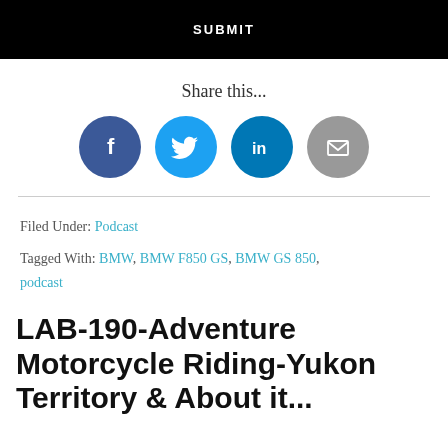[Figure (other): Black submit button with white uppercase text SUBMIT]
Share this...
[Figure (other): Social media share icons: Facebook (dark blue circle with f), Twitter (light blue circle with bird), LinkedIn (teal circle with in), Email (grey circle with envelope)]
Filed Under: Podcast
Tagged With: BMW, BMW F850 GS, BMW GS 850, podcast
LAB-190-Adventure Motorcycle Riding-Yukon Territory & About it...